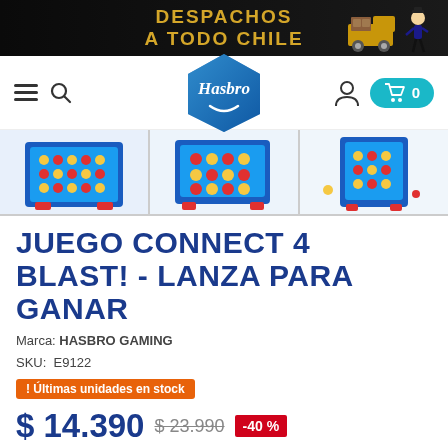[Figure (illustration): Black promotional banner with gold text 'DESPACHOS A TODO CHILE' and Monopoly man character with delivery truck]
[Figure (logo): Hasbro logo on blue diamond/pillow shaped background]
[Figure (screenshot): Navigation bar with hamburger menu, search icon, Hasbro logo center, user icon and cart with 0 items]
[Figure (photo): Three product thumbnail images of Connect 4 Blast game]
JUEGO CONNECT 4 BLAST! - LANZA PARA GANAR
Marca: HASBRO GAMING
SKU:  E9122
! Últimas unidades en stock
$ 14.390  $ 23.990  -40 %